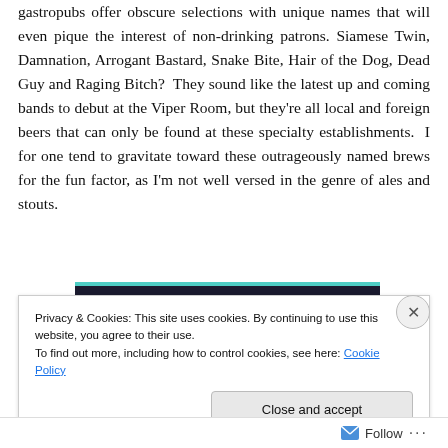gastropubs offer obscure selections with unique names that will even pique the interest of non-drinking patrons. Siamese Twin, Damnation, Arrogant Bastard, Snake Bite, Hair of the Dog, Dead Guy and Raging Bitch? They sound like the latest up and coming bands to debut at the Viper Room, but they're all local and foreign beers that can only be found at these specialty establishments. I for one tend to gravitate toward these outrageously named brews for the fun factor, as I'm not well versed in the genre of ales and stouts.
[Figure (screenshot): Dark navigation bar with teal top border]
Privacy & Cookies: This site uses cookies. By continuing to use this website, you agree to their use.
To find out more, including how to control cookies, see here: Cookie Policy
Close and accept
Follow